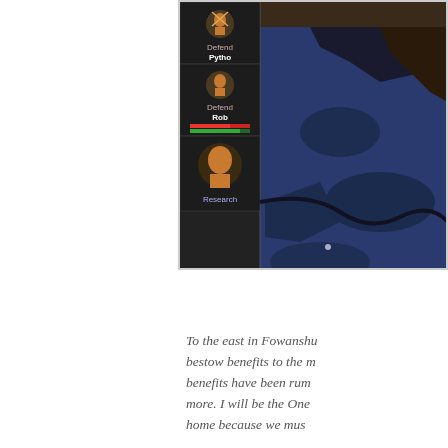[Figure (screenshot): A game screenshot showing a map with blue and dark terrain regions, and a UI panel on the left side with character options including 'Defend' (with character icon for Pytho), 'Defend' (with character icon for Rob, with red/green bars), and 'Research' (with a character icon). The map portion shows a top-down strategy game view with blue water/territory and dark land masses.]
To the east in Fowanshu bestow benefits to the m benefits have been rum more. I will be the One home because we mus